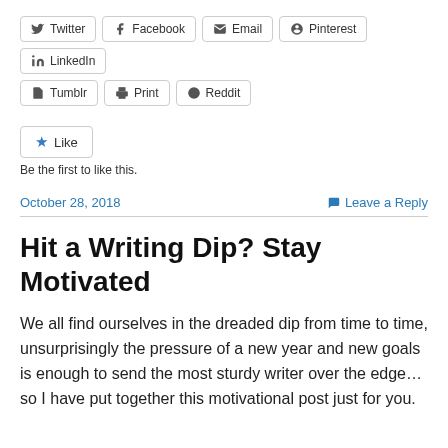[Figure (infographic): Social share buttons row 1: Twitter, Facebook, Email, Pinterest, LinkedIn]
[Figure (infographic): Social share buttons row 2: Tumblr, Print, Reddit]
[Figure (infographic): Like button with star icon]
Be the first to like this.
October 28, 2018
Leave a Reply
Hit a Writing Dip? Stay Motivated
We all find ourselves in the dreaded dip from time to time, unsurprisingly the pressure of a new year and new goals is enough to send the most sturdy writer over the edge… so I have put together this motivational post just for you.